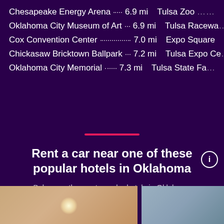Chesapeake Energy Arena ................ 6.9 mi     Tulsa Zoo ……
Oklahoma City Museum of Art ……… 6.9 mi     Tulsa Racewa…
Cox Convention Center .................... 7.0 mi     Expo Square
Chickasaw Bricktown Ballpark ………… 7.2 mi     Tulsa Expo Ce…
Oklahoma City Memorial ………………… 7.3 mi     Tulsa State Fa…
Rent a car near one of these popular hotels in Oklahoma
Below are the most popular hotels in Oklahoma
[Figure (photo): Hotel room interior photo with warm lighting]
[Figure (photo): Hotel exterior or building photo]